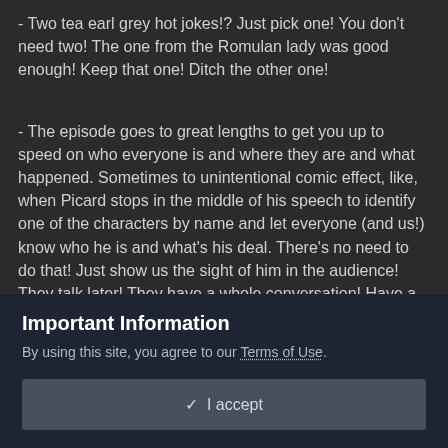- Two tea earl grey hot jokes!? Just pick one! You don't need two! The one from the Romulan lady was good enough! Keep that one! Ditch the other one!
- The episode goes to great lengths to get you up to speed on who everyone is and where they are and what happened. Sometimes to unintentional comic effect, like, when Picard stops in the middle of his speech to identify one of the characters by name and let everyone (and us!) know who he is and what's his deal. There's no need to do that! Just show us the sight of him in the audience! They talk later! They have a whole conversation! Have a little faith in us! We can put two and two together! Hilariously, however, all this effort in making sure we need to know where all the pieces are (there's a little mini Zoom call from
Important Information
By using this site, you agree to our Terms of Use.
✓  I accept